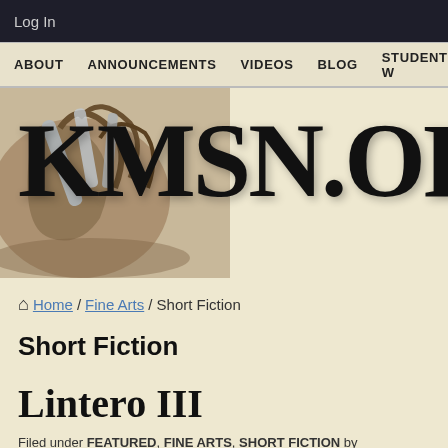Log In
ABOUT   ANNOUNCEMENTS   VIDEOS   BLOG   STUDENT W
[Figure (logo): KMSN.OR website logo with large serif text 'KMSN.OR' overlaid on an image of a bird/hawk claw or talon on a metallic surface, on a cream background.]
Home / Fine Arts / Short Fiction
Short Fiction
Lintero III
Filed under FEATURED, FINE ARTS, SHORT FICTION by THICKS2119 on MARC